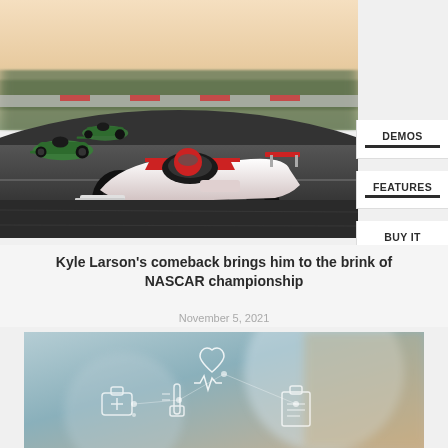[Figure (photo): Racing cars on a track, lead car is white and red Formula-style race car, followed by green cars, motion blur background]
DEMOS
FEATURES
BUY IT
Kyle Larson's comeback brings him to the brink of NASCAR championship
November 5, 2021
[Figure (photo): Medical technology image showing a doctor or healthcare worker with digital health icons overlay including heart monitor, medical kit, thermometer, and clipboard]